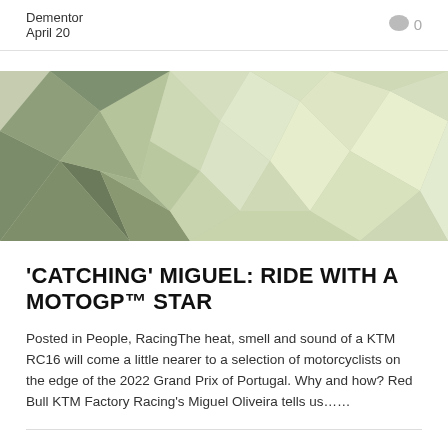Dementor
April 20
[Figure (illustration): Abstract low-poly geometric background image in muted green and beige tones]
'CATCHING' MIGUEL: RIDE WITH A MOTOGP™ STAR
Posted in People, RacingThe heat, smell and sound of a KTM RC16 will come a little nearer to a selection of motorcyclists on the edge of the 2022 Grand Prix of Portugal. Why and how? Red Bull KTM Factory Racing's Miguel Oliveira tells us……